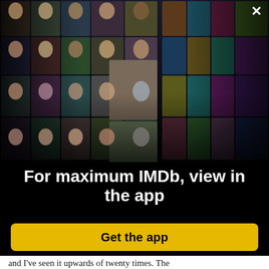[Figure (photo): IMDb app promotional collage showing celebrity photos and movie posters arranged in a 3D perspective grid on a black background. A close (X) button appears in the top right corner.]
For maximum IMDb, view in the app
Get the app
and I've seen it upwards of twenty times. The timing is incredible. The examination room bit with Harpo ("Either this man is dead or my watch has stopped") is equally tight. There isn't a slow